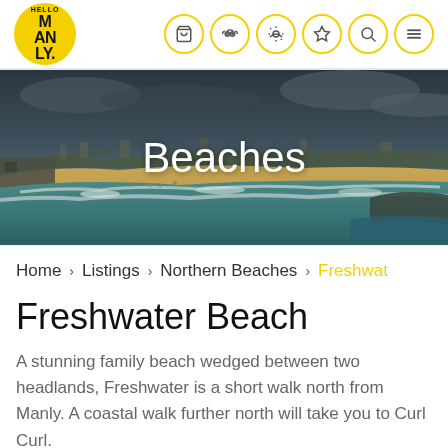[Figure (logo): Hello Manly logo - yellow circle with HELLO MAN LY. text in black bold]
[Figure (screenshot): Navigation icons: shopping cart, tripadvisor owl, weather/sun, star/bookmark, search, hamburger menu - each in yellow circle outline]
[Figure (photo): Aerial beach photo showing Freshwater Beach with sandy beach, turquoise/teal ocean waves, headlands in background, dark cloudy sky, residential buildings along coast]
Beaches
Home > Listings > Northern Beaches > Freshwat
Freshwater Beach
A stunning family beach wedged between two headlands, Freshwater is a short walk north from Manly. A coastal walk further north will take you to Curl Curl.